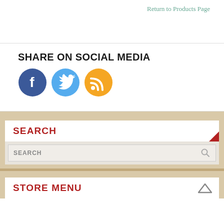Return to Products Page
SHARE ON SOCIAL MEDIA
[Figure (illustration): Three social media icon buttons: Facebook (blue circle with white 'f'), Twitter (light blue circle with white bird), RSS feed (orange circle with white wifi/signal icon)]
SEARCH
SEARCH
STORE MENU